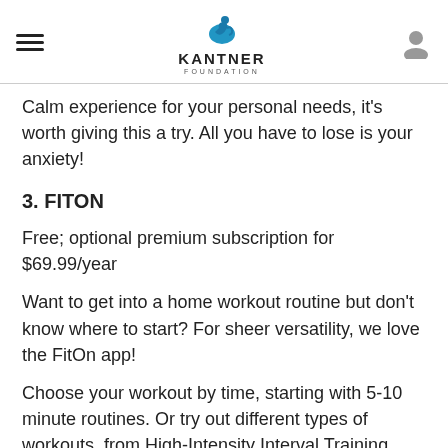KANTNER FOUNDATION
Calm experience for your personal needs, it's worth giving this a try. All you have to lose is your anxiety!
3. FITON
Free; optional premium subscription for $69.99/year
Want to get into a home workout routine but don't know where to start? For sheer versatility, we love the FitOn app!
Choose your workout by time, starting with 5-10 minute routines. Or try out different types of workouts, from High-Intensity Interval Training (HIIT) to yoga. Work out with your favorite celebrity trainer, like Jonathan Van